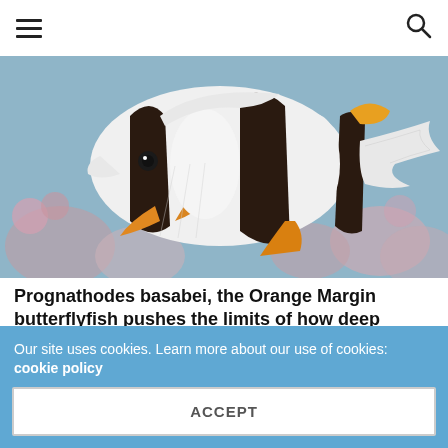≡  🔍
[Figure (photo): Close-up photograph of a Prognathodes basabei (Orange Margin butterflyfish) showing its distinctive black and white striped pattern with orange/yellow markings near the fins, photographed against a coral reef background.]
Prognathodes basabei, the Orange Margin butterflyfish pushes the limits of how deep fish are collected
JAKE ADAMS  -  MAY 21, 2009   💬 7
After ten years since the first time this species was collected, Blue
Our site uses cookies. Learn more about our use of cookies: cookie policy
ACCEPT